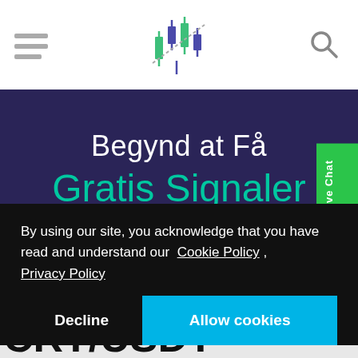[Figure (logo): Trading signals website logo with candlestick chart icon in green/blue/purple colors]
Begynd at Få
Gratis Signaler
By using our site, you acknowledge that you have read and understand our Cookie Policy , Privacy Policy
Decline
Allow cookies
CRT/USDT